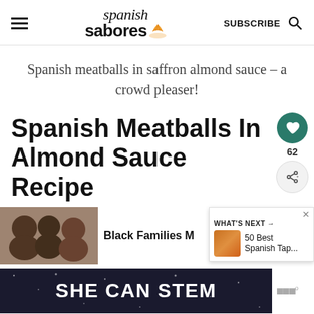Spanish Sabores — SUBSCRIBE
Spanish meatballs in saffron almond sauce – a crowd pleaser!
Spanish Meatballs In Almond Sauce Recipe
[Figure (screenshot): Advertisement showing people with text 'Black Families M...' and a 'WHAT'S NEXT' overlay showing '50 Best Spanish Tap...']
[Figure (screenshot): Bottom advertisement banner with dark background showing 'SHE CAN STEM' text and Walmart logo]